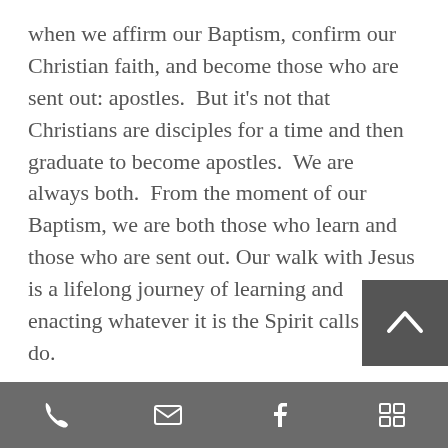when we affirm our Baptism, confirm our Christian faith, and become those who are sent out: apostles.  But it's not that Christians are disciples for a time and then graduate to become apostles.  We are always both.  From the moment of our Baptism, we are both those who learn and those who are sent out. Our walk with Jesus is a lifelong journey of learning and enacting whatever it is the Spirit calls us to do.

And it is their desire to be on this journey that 7 young adults will be confirming later today.  They're not affirming they know all the answers.  They're not saying they have everything
[Figure (other): Dark grey scroll-up arrow button overlay in bottom-right area of text]
Phone | Email | Facebook | Menu icons navigation bar